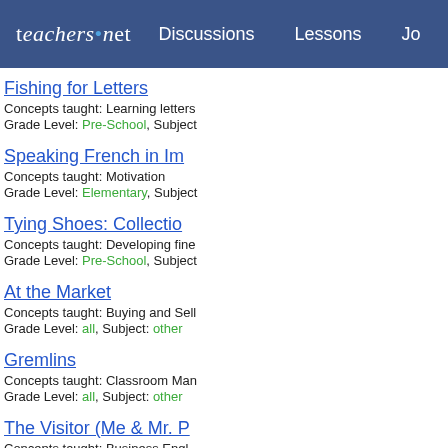teachers.net  Discussions  Lessons  Jo
Fishing for Letters
Concepts taught: Learning letters
Grade Level: Pre-School, Subject
Speaking French in Im
Concepts taught: Motivation
Grade Level: Elementary, Subject
Tying Shoes: Collectio
Concepts taught: Developing fine
Grade Level: Pre-School, Subject
At the Market
Concepts taught: Buying and Sell
Grade Level: all, Subject: other
Gremlins
Concepts taught: Classroom Man
Grade Level: all, Subject: other
The Visitor (Me & Mr. P
Concepts taught: Business Engl